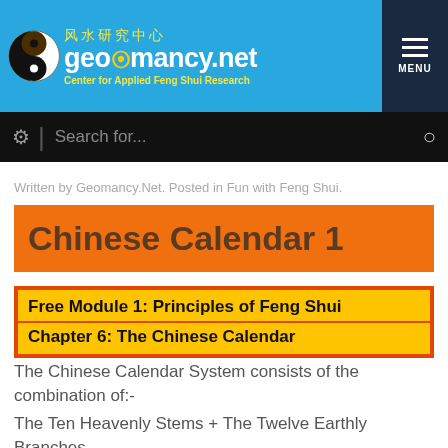风水研究中心 geomancy.net Center for Applied Feng Shui Research MENU
Search for...
Written by Geomancy.Net. Posted in Fun with Feng Shui.
Chinese Calendar 1
Free Module 1: Principles of Feng Shui
Chapter 6: The Chinese Calendar
The Chinese Calendar System consists of the combination of:-
The Ten Heavenly Stems + The Twelve Earthly Branches